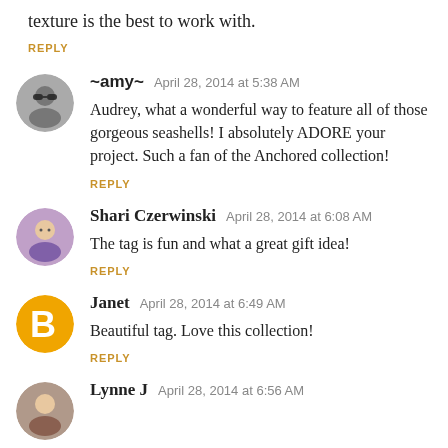... this project. I love your papers the texture is the best to work with.
REPLY
~amy~  April 28, 2014 at 5:38 AM
Audrey, what a wonderful way to feature all of those gorgeous seashells! I absolutely ADORE your project. Such a fan of the Anchored collection!
REPLY
Shari Czerwinski  April 28, 2014 at 6:08 AM
The tag is fun and what a great gift idea!
REPLY
Janet  April 28, 2014 at 6:49 AM
Beautiful tag. Love this collection!
REPLY
Lynne J  April 28, 2014 at 6:56 AM